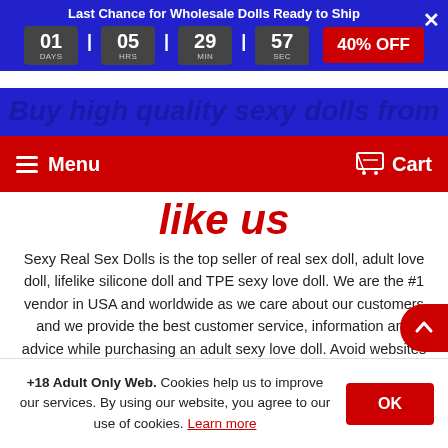were dreaming about.
Last Chance for Wholesale Dolls Ready to Ship
01 DAYS | 05 HRS | 29 MIN | 57 SEC   40% OFF
Buy hig... lls from
Menu   Cart
like us
Sexy Real Sex Dolls is the top seller of real sex doll, adult love doll, lifelike silicone doll and TPE sexy love doll. We are the #1 vendor in USA and worldwide as we care about our customers and we provide the best customer service, information and advice while purchasing an adult sexy love doll. Avoid websites that sell poor quality dolls while stealing pictures or high quality realistic sex dolls like ours. We have been certified and authorized as an official vendor by the dollforum, which is the biggest community of sex doll fans in the world! You can find more customer re...
+18 Adult Only Web. Cookies help us to improve our services. By using our website, you agree to our use of cookies. Learn more